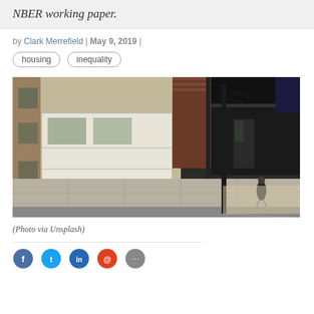NBER working paper.
by Clark Merrefield | May 9, 2019 |
housing
inequality
[Figure (photo): Aerial/overhead view of a city street corner showing a brick building facade with boarded-up windows, a sidewalk, a lamp post, and a lone pedestrian walking near the street.]
(Photo via Unsplash)